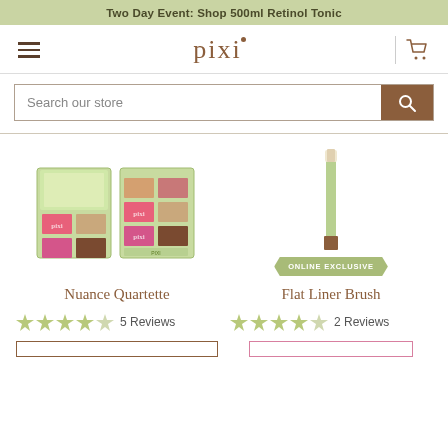Two Day Event: Shop 500ml Retinol Tonic
[Figure (logo): Pixi beauty brand logo with hamburger menu and shopping cart icon]
Search our store
[Figure (photo): Two Nuance Quartette makeup palettes shown open and closed]
Nuance Quartette
[Figure (photo): Flat Liner Brush with Online Exclusive badge]
Flat Liner Brush
5 Reviews
2 Reviews